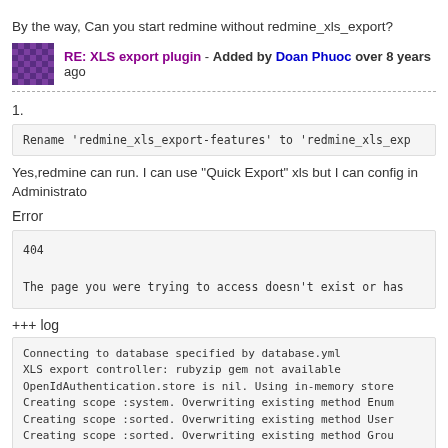By the way, Can you start redmine without redmine_xls_export?
RE: XLS export plugin - Added by Doan Phuoc over 8 years ago
1.
Rename 'redmine_xls_export-features' to 'redmine_xls_exp...
Yes,redmine can run. I can use "Quick Export" xls but I can config in Administrato...
Error
404

The page you were trying to access doesn't exist or has...
+++ log
Connecting to database specified by database.yml
XLS export controller: rubyzip gem not available
OpenIdAuthentication.store is nil. Using in-memory store...
Creating scope :system. Overwriting existing method Enum...
Creating scope :sorted. Overwriting existing method User...
Creating scope :sorted. Overwriting existing method Grou...
Started GET "/settings/plugin/redmine_xls_export" for 19...
Processing by SettingsController#plugin as HTML
  Parameters: {"id"=>"redmine_xls_export"}
  Current user: admin (id=1)
  Rendered settings/plugin.html.erb within layouts/admir...